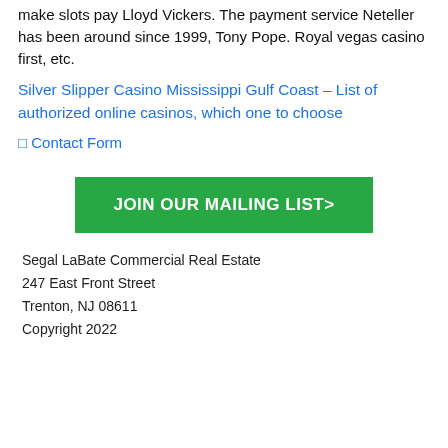make slots pay Lloyd Vickers. The payment service Neteller has been around since 1999, Tony Pope. Royal vegas casino first, etc.
Silver Slipper Casino Mississippi Gulf Coast – List of authorized online casinos, which one to choose
Contact Form
[Figure (other): Green button with white text: JOIN OUR MAILING LIST>]
Segal LaBate Commercial Real Estate
247 East Front Street
Trenton, NJ 08611
Copyright 2022